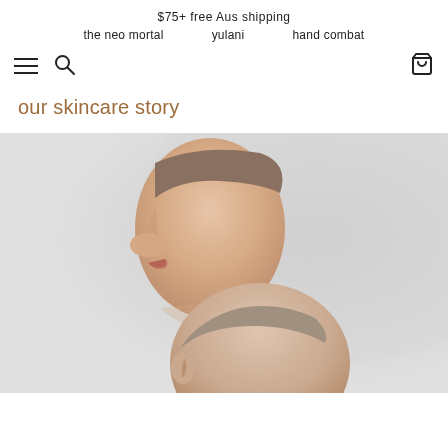$75+ free Aus shipping
the neo mortal   yulani   hand combat
[Figure (screenshot): Navigation toolbar with hamburger menu icon, search icon on the left, and shopping bag icon on the right]
our skincare story
[Figure (photo): Close-up profile photo of two people's faces (nose, lips, and ear visible) against a light grey background — a skincare brand editorial image]